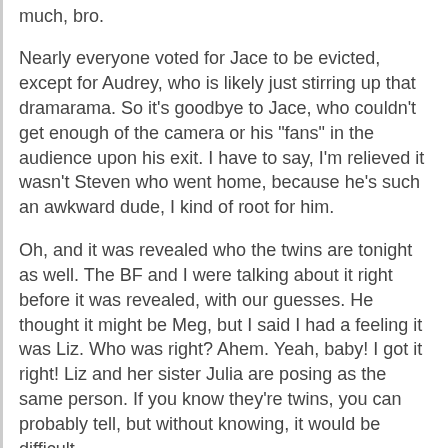much, bro.
Nearly everyone voted for Jace to be evicted, except for Audrey, who is likely just stirring up that dramarama. So it's goodbye to Jace, who couldn't get enough of the camera or his "fans" in the audience upon his exit. I have to say, I'm relieved it wasn't Steven who went home, because he's such an awkward dude, I kind of root for him.
Oh, and it was revealed who the twins are tonight as well. The BF and I were talking about it right before it was revealed, with our guesses. He thought it might be Meg, but I said I had a feeling it was Liz. Who was right? Ahem. Yeah, baby! I got it right! Liz and her sister Julia are posing as the same person. If you know they're twins, you can probably tell, but without knowing, it would be difficult.
Anyway, the two HOH's for this next week are Becky and Shelli, and the BB Takeover is courtesy of Kathy Griffin. She will call the house seven times throughout the week, and whoever picks up on the seventh call will have the power of the Last Laugh, where they choose three people